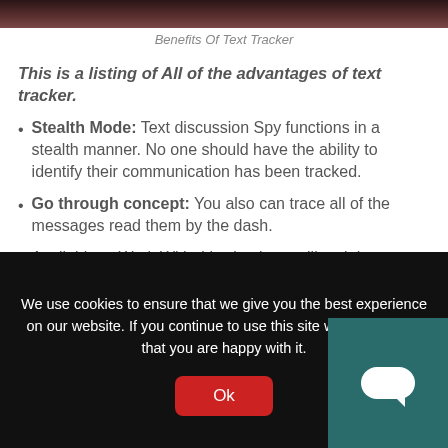[Figure (photo): Top portion of a photo showing a dark reddish-brown blurred background]
Benefits Of Text Tracker
This is a listing of All of the advantages of text tracker.
Stealth Mode: Text discussion Spy functions in a stealth manner. No one should have the ability to identify their communication has been tracked.
Go through concept: You also can trace all of the messages read them by the dash.
Available to Work With: It's simple to utilize. It is possible to readily put in this particular specific app and also make operate of this characteristic with no
We use cookies to ensure that we give you the best experience on our website. If you continue to use this site we will assume that you are happy with it.